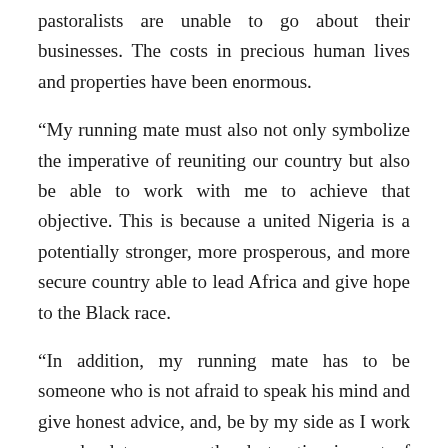pastoralists are unable to go about their businesses. The costs in precious human lives and properties have been enormous.
“My running mate must also not only symbolize the imperative of reuniting our country but also be able to work with me to achieve that objective. This is because a united Nigeria is a potentially stronger, more prosperous, and more secure country able to lead Africa and give hope to the Black race.
“In addition, my running mate has to be someone who is not afraid to speak his mind and give honest advice, and, be by my side as I work very hard to reverse the destructive impact of the past seven years of the APC government.
“In the United States of America from where we borrowed key aspects of our current Presidential system, a running mate is